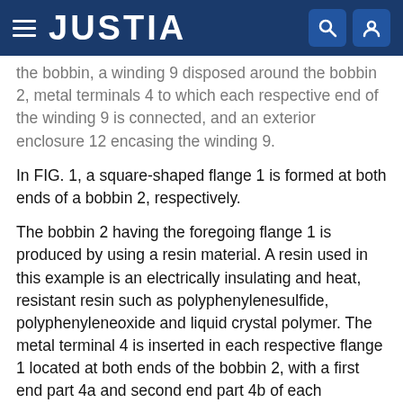JUSTIA
the bobbin, a winding 9 disposed around the bobbin 2, metal terminals 4 to which each respective end of the winding 9 is connected, and an exterior enclosure 12 encasing the winding 9.
In FIG. 1, a square-shaped flange 1 is formed at both ends of a bobbin 2, respectively.
The bobbin 2 having the foregoing flange 1 is produced by using a resin material. A resin used in this example is an electrically insulating and heat, resistant resin such as polyphenylenesulfide, polyphenyleneoxide and liquid crystal polymer. The metal terminal 4 is inserted in each respective flange 1 located at both ends of the bobbin 2, with a first end part 4a and second end part 4b of each respective metal terminal 4 sticking out from the flange 1. The metal terminal 4 is bent upward inside of the flange 1 near its inner side, and the second end part 4b